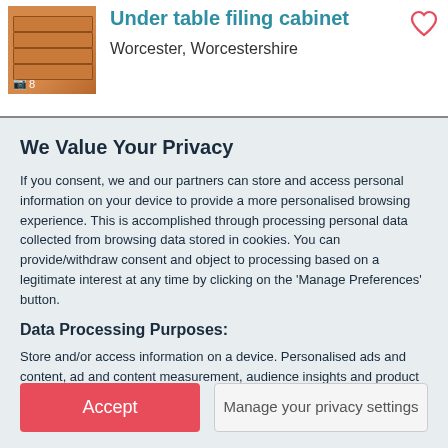[Figure (photo): Product photo of an under table filing cabinet (wooden, orange-brown), showing 8 photos indicator]
Under table filing cabinet
Worcester, Worcestershire
We Value Your Privacy
If you consent, we and our partners can store and access personal information on your device to provide a more personalised browsing experience. This is accomplished through processing personal data collected from browsing data stored in cookies. You can provide/withdraw consent and object to processing based on a legitimate interest at any time by clicking on the 'Manage Preferences' button.
Data Processing Purposes:
Store and/or access information on a device. Personalised ads and content, ad and content measurement, audience insights and product development.
List of Partners (vendors)
Accept
Manage your privacy settings